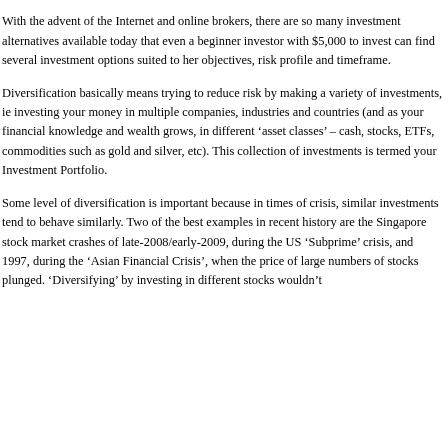With the advent of the Internet and online brokers, there are so many investment alternatives available today that even a beginner investor with $5,000 to invest can find several investment options suited to her objectives, risk profile and timeframe.
Diversification basically means trying to reduce risk by making a variety of investments, ie investing your money in multiple companies, industries and countries (and as your financial knowledge and wealth grows, in different ‘asset classes’ – cash, stocks, ETFs, commodities such as gold and silver, etc). This collection of investments is termed your Investment Portfolio.
Some level of diversification is important because in times of crisis, similar investments tend to behave similarly. Two of the best examples in recent history are the Singapore stock market crashes of late-2008/early-2009, during the US ‘Subprime’ crisis, and 1997, during the ‘Asian Financial Crisis’, when the price of large numbers of stocks plunged. ‘Diversifying’ by investing in different stocks wouldn’t